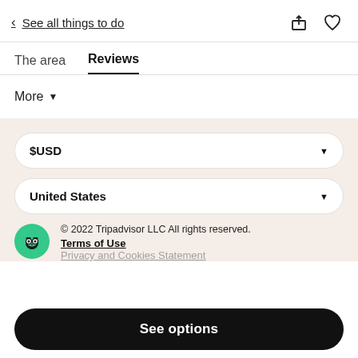< See all things to do
The area   Reviews
More ∨
$USD
United States
© 2022 Tripadvisor LLC All rights reserved.
Terms of Use
Privacy and Cookies Statement
See options